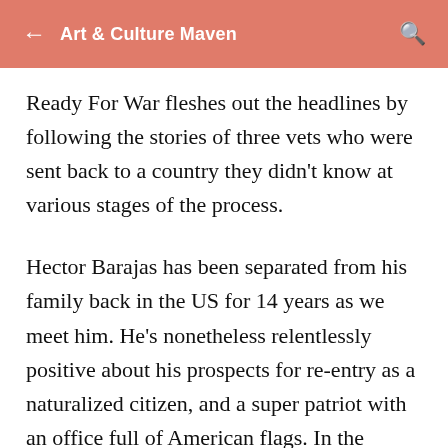Art & Culture Maven
Ready For War fleshes out the headlines by following the stories of three vets who were sent back to a country they didn't know at various stages of the process.
Hector Barajas has been separated from his family back in the US for 14 years as we meet him. He's nonetheless relentlessly positive about his prospects for re-entry as a naturalized citizen, and a super patriot with an office full of American flags. In the meantime, he's in Juárez running a service to help re-integrate the constant stream